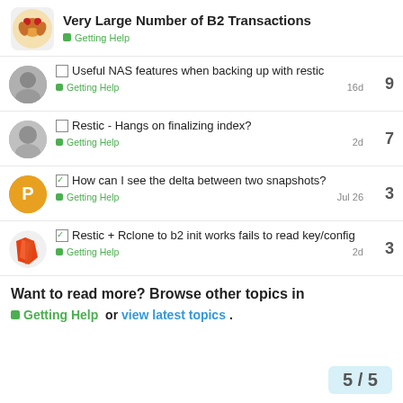Very Large Number of B2 Transactions — Getting Help
Useful NAS features when backing up with restic — Getting Help — 9 replies — 16d
Restic - Hangs on finalizing index? — Getting Help — 7 replies — 2d
How can I see the delta between two snapshots? — Getting Help — 3 replies — Jul 26
Restic + Rclone to b2 init works fails to read key/config — Getting Help — 3 replies — 2d
Want to read more? Browse other topics in Getting Help or view latest topics.
5 / 5